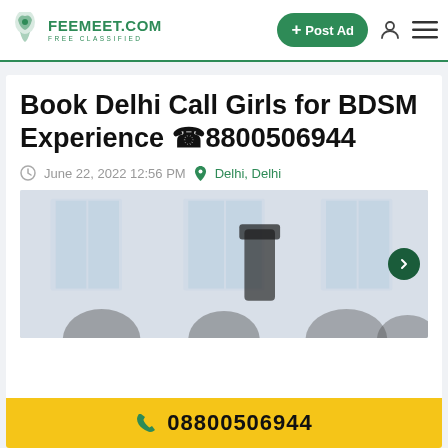FEEMEET.COM FREE CLASSIFIED | + Post Ad
Book Delhi Call Girls for BDSM Experience ☎8800506944
June 22, 2022 12:56 PM   Delhi, Delhi
[Figure (photo): Photo of women in an indoor setting]
08800506944